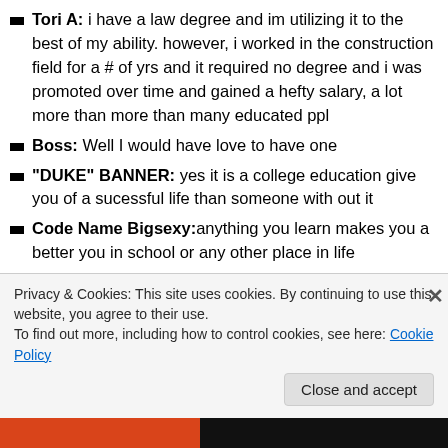Tori A: i have a law degree and im utilizing it to the best of my ability. however, i worked in the construction field for a # of yrs and it required no degree and i was promoted over time and gained a hefty salary, a lot more than more than many educated ppl
Boss: Well I would have love to have one
"DUKE" BANNER: yes it is a college education give you of a sucessful life than someone with out it
Code Name Bigsexy: anything you learn makes you a better you in school or any other place in life
Boots: Not only does it prepare you for obtaining a
Privacy & Cookies: This site uses cookies. By continuing to use this website, you agree to their use.
To find out more, including how to control cookies, see here: Cookie Policy